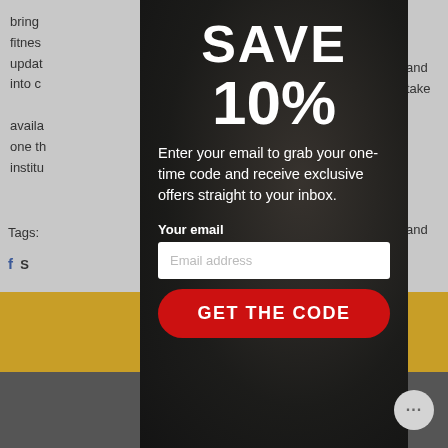bring fitness and updates into c availa and one th institu
Tags:
[Figure (screenshot): A dark popup modal overlay on an article page. The modal features a tattooed bearded man in a dark t-shirt as background. Text reads SAVE 10% with subscription offer, email input field, and GET THE CODE button.]
SAVE
10%
Enter your email to grab your one-time code and receive exclusive offers straight to your inbox.
Your email
Email address
GET THE CODE